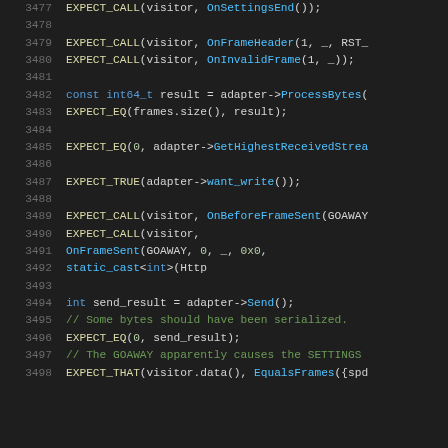[Figure (screenshot): Source code snippet in dark theme editor showing C++ test code lines 3477-3498 with syntax highlighting. Line numbers in gray, keywords in blue, function/method names in yellow/cyan, string literals in orange, comments in green, special identifiers in purple.]